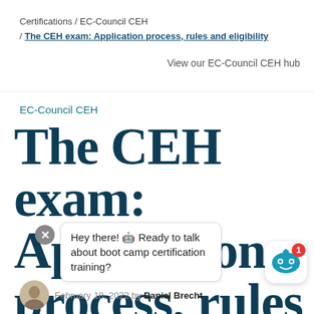Certifications / EC-Council CEH / The CEH exam: Application process, rules and eligibility
View our EC-Council CEH hub
EC-Council CEH
The CEH exam: Application process, rules and eligibility
Hey there! 🤖 Ready to talk about boot camp certification training?
February 18, 2022 by Daniel Brecht